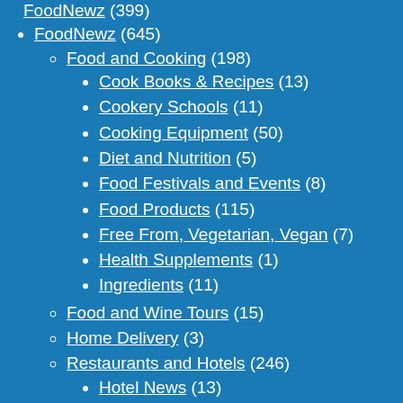FoodNewz (645)
Food and Cooking (198)
Cook Books & Recipes (13)
Cookery Schools (11)
Cooking Equipment (50)
Diet and Nutrition (5)
Food Festivals and Events (8)
Food Products (115)
Free From, Vegetarian, Vegan (7)
Health Supplements (1)
Ingredients (11)
Food and Wine Tours (15)
Home Delivery (3)
Restaurants and Hotels (246)
Hotel News (13)
Restaurant News (30)